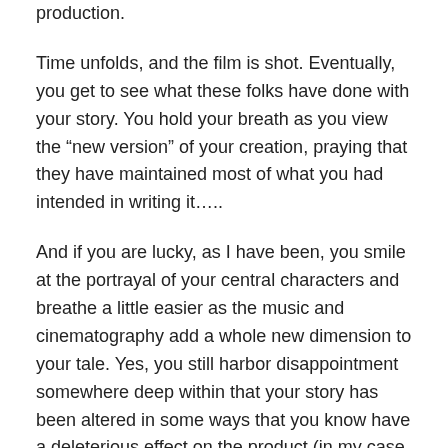production.
Time unfolds, and the film is shot. Eventually, you get to see what these folks have done with your story. You hold your breath as you view the “new version” of your creation, praying that they have maintained most of what you had intended in writing it…..
And if you are lucky, as I have been, you smile at the portrayal of your central characters and breathe a little easier as the music and cinematography add a whole new dimension to your tale. Yes, you still harbor disappointment somewhere deep within that your story has been altered in some ways that you know have a deleterious effect on the product (in my case, The Legend of Mickey Tussler was set in the 1940’s but “A Mile in His Shoes”was filmed as a present day story) but you cannot